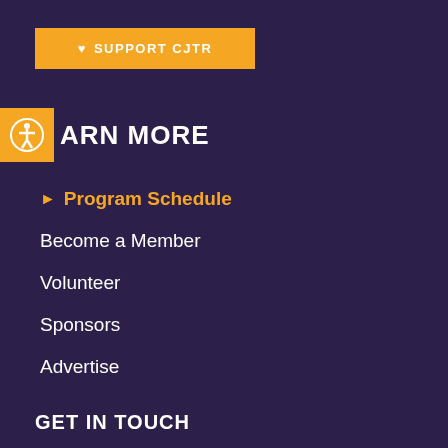♥ SUPPORT CJTR
[Figure (illustration): Accessibility widget icon - circular icon with human figure, orange background]
LEARN MORE
► Program Schedule
Become a Member
Volunteer
Sponsors
Advertise
GET IN TOUCH